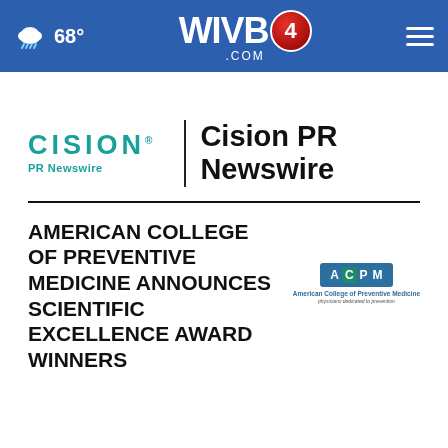WIVB4.com — 68°
[Figure (logo): Cision PR Newswire logo with CISION text in teal and 'Cision PR Newswire' in bold black]
AMERICAN COLLEGE OF PREVENTIVE MEDICINE ANNOUNCES SCIENTIFIC EXCELLENCE AWARD WINNERS
[Figure (logo): ACPM (American College of Preventive Medicine) logo — blue badge with letters A C P M and subtitle 'physicians dedicated to prevention']